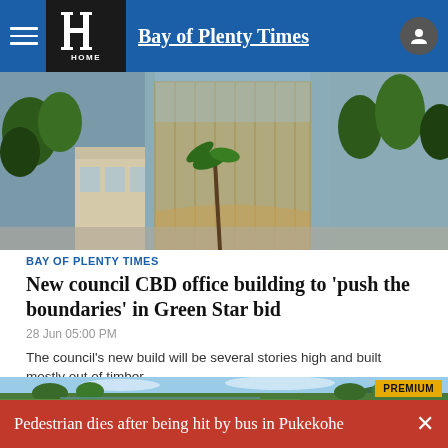Bay of Plenty Times
[Figure (photo): Architectural rendering/photo of a CBD office building with glass facade and surrounding urban streetscape with trees]
BAY OF PLENTY TIMES
New council CBD office building to 'push the boundaries' in Green Star bid
28 Jun 05:00 PM
The council's new build will be several stories high and built mostly out of timber.
[Figure (photo): Landscape photo showing a lake or estuary with a distinctive mountain (Mount Maunganui) in the background and parkland in the foreground, with a PREMIUM badge overlay]
Pedestrian dies after being hit by bus in Pukekohe